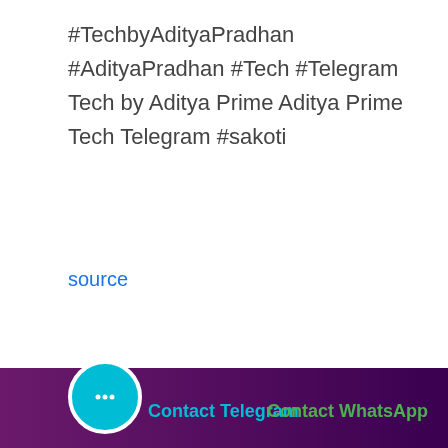#TechbyAdityaPradhan #AdityaPradhan #Tech #Telegram Tech by Aditya Prime Aditya Prime Tech Telegram #sakoti
source
[Figure (other): Five empty star rating icons followed by 'Rate us' text in gray]
✈ TELEGRAM SERVICES
Buy Telegram Members
Contact Telegram   Contact WhatsApp